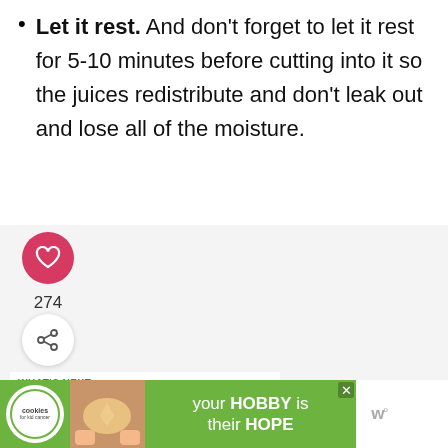Let it rest. And don't forget to let it rest for 5-10 minutes before cutting into it so the juices redistribute and don't leak out and lose all of the moisture.
[Figure (infographic): Social interaction buttons: heart/like button (pink circle), count 274, share button (circle with share icon)]
274
WHAT'S NEXT → Barbecue Chicken...
[Figure (infographic): Advertisement banner: cookies for kid cancer - your HOBBY is their HOPE, green background, heart-shaped cookie image]